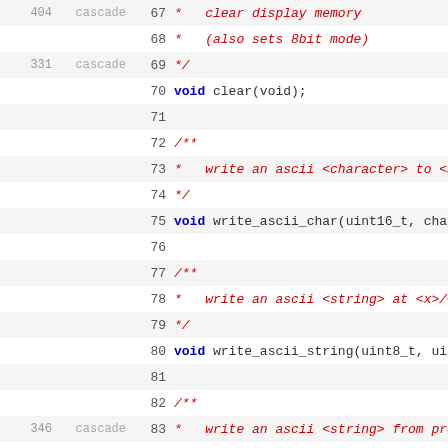Source code listing with line numbers 67-87, showing C++ header file declarations for display functions including clear(), write_ascii_char(), write_ascii_string(), and write_ascii_string_pgm()